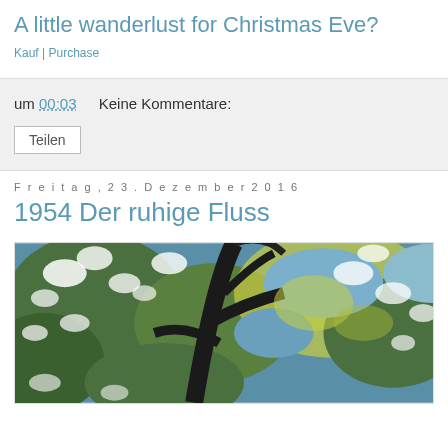A little wanderlust for Christmas Eve?
Kauf | Purchase
um 00:03   Keine Kommentare:
Teilen
Freitag, 23. Dezember 2016
1954 Der ruhige Fluss
[Figure (illustration): Painting of tree branches with white blossoms against a blue and green background, dark trunk branches visible, loose impressionistic brushwork.]